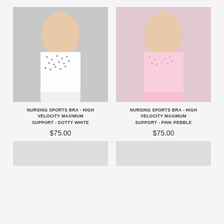[Figure (photo): Woman wearing white dotty nursing sports bra, pulling aside panel to show nursing access]
[Figure (photo): Woman wearing pink pebble nursing sports bra, pulling aside panel to show nursing access]
NURSING SPORTS BRA - HIGH VELOCITY MAXIMUM SUPPORT - DOTTY WHITE
NURSING SPORTS BRA - HIGH VELOCITY MAXIMUM SUPPORT - PINK PEBBLE
$75.00
$75.00
[Figure (photo): Partially visible product image at bottom left]
[Figure (photo): Partially visible product image at bottom right]